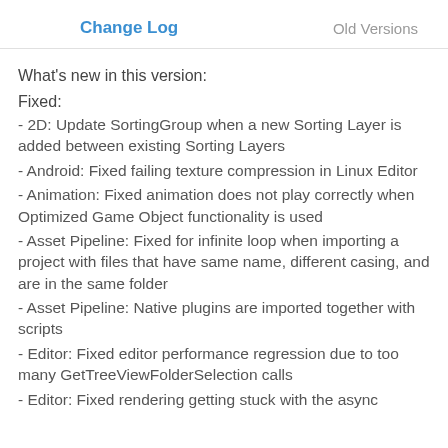Change Log    Old Versions
What's new in this version:
Fixed:
- 2D: Update SortingGroup when a new Sorting Layer is added between existing Sorting Layers
- Android: Fixed failing texture compression in Linux Editor
- Animation: Fixed animation does not play correctly when Optimized Game Object functionality is used
- Asset Pipeline: Fixed for infinite loop when importing a project with files that have same name, different casing, and are in the same folder
- Asset Pipeline: Native plugins are imported together with scripts
- Editor: Fixed editor performance regression due to too many GetTreeViewFolderSelection calls
- Editor: Fixed rendering getting stuck with the async